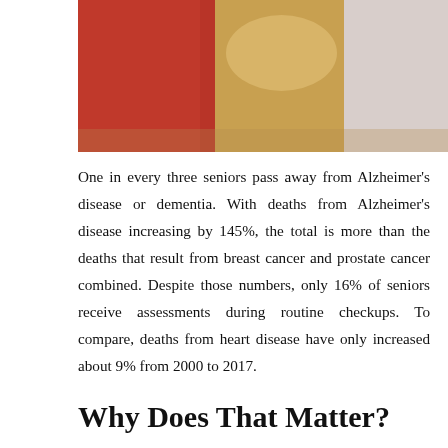[Figure (photo): Photo of elderly woman being assisted by caregivers, one in red and one in a yellow floral top, cropped at top of page]
One in every three seniors pass away from Alzheimer's disease or dementia. With deaths from Alzheimer's disease increasing by 145%, the total is more than the deaths that result from breast cancer and prostate cancer combined. Despite those numbers, only 16% of seniors receive assessments during routine checkups. To compare, deaths from heart disease have only increased about 9% from 2000 to 2017.
Why Does That Matter?
With a growing number of older adults suffering from mental conditions, it's now more important than ever